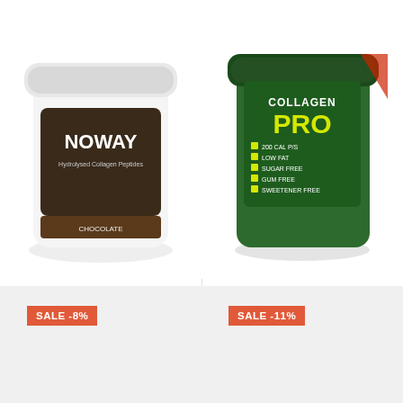[Figure (photo): ATP Science Noway Protein tub product image, white container with dark label]
ATP SCIENCE NOWAY PROTEIN
100% NOWAY HCP BODYBALANCE PROTEIN...
$87.95  $79.95
[Figure (photo): Cyborg Sports Collagen Pro Protein green tub product image]
CYBORG SPORTS COLLAGEN PRO PROTEIN
Collagen PRO is an all new revolutionary formulated...
$92.95  $84.95
SALE -8%
SALE -11%